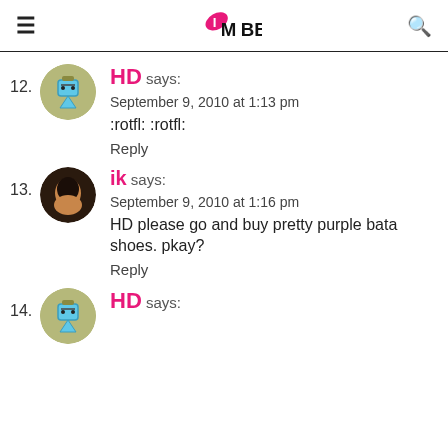IMBB (logo)
12. HD says: September 9, 2010 at 1:13 pm :rotfl: :rotfl: Reply
13. ik says: September 9, 2010 at 1:16 pm HD please go and buy pretty purple bata shoes. pkay? Reply
14. HD says: